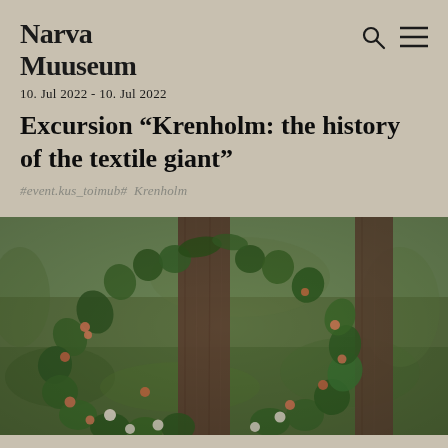Narva Muuseum
10. Jul 2022 - 10. Jul 2022
Excursion "Krenholm: the history of the textile giant"
#event.kus_toimub#  Krenholm
[Figure (photo): A floral wreath made of green leaves and small flowers/berries hanging on a weathered wooden post, with a blurred green outdoor background.]